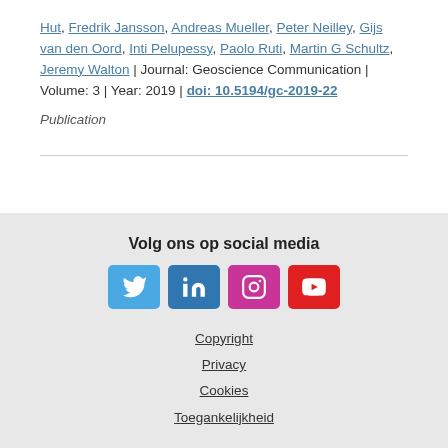Hut, Fredrik Jansson, Andreas Mueller, Peter Neilley, Gijs van den Oord, Inti Pelupessy, Paolo Ruti, Martin G Schultz, Jeremy Walton | Journal: Geoscience Communication | Volume: 3 | Year: 2019 | doi: 10.5194/gc-2019-22
Publication
Volg ons op social media
Copyright
Privacy
Cookies
Toegankelijkheid